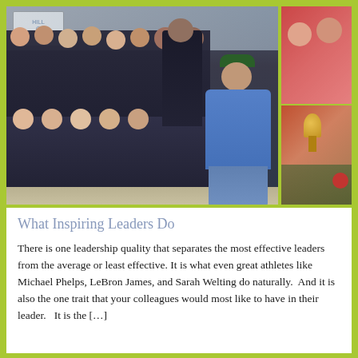[Figure (photo): Group photo of a water polo team (mostly young women in black swimsuits) with coaches at an indoor pool, with a Hill Water Polo sign visible. Two smaller photos on the right: one of two adults smiling, another of a water polo ball trophy with flowers.]
What Inspiring Leaders Do
There is one leadership quality that separates the most effective leaders from the average or least effective. It is what even great athletes like Michael Phelps, LeBron James, and Sarah Welting do naturally.  And it is also the one trait that your colleagues would most like to have in their leader.   It is the […]